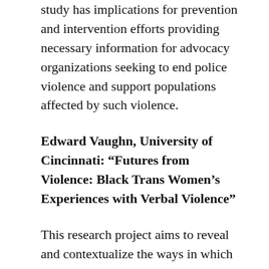study has implications for prevention and intervention efforts providing necessary information for advocacy organizations seeking to end police violence and support populations affected by such violence.
Edward Vaughn, University of Cincinnati: “Futures from Violence: Black Trans Women’s Experiences with Verbal Violence”
This research project aims to reveal and contextualize the ways in which Black trans women experience verbal violence, such as mis-gendering and invalidation of womanhood in their personal lives, and how and where they experience more. With special attention to